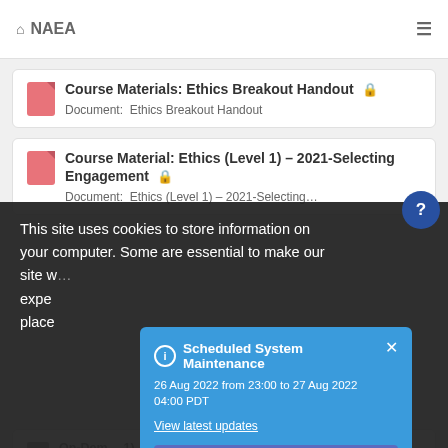NAEA
Course Materials: Ethics Breakout Handout 🔒
Document:  Ethics Breakout Handout
Course Material: Ethics (Level 1) – 2021-Selecting Engagement 🔒
Document:  Ethics (Level 1) – 2021-Selecting…
This site uses cookies to store information on your computer. Some are essential to make our site w… expe… place…
Scheduled System Maintenance
26 Aug 2022 from 23:00 to 27 Aug 2022 04:00 PDT
View latest updates
Agree & Dismiss
On-Dem… 1) – 2021-Selecting engagements – (2 CE) 🔒
Presentation:  92 min 18 sec